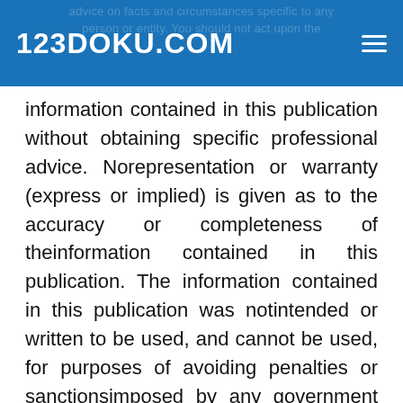123DOKU.COM
advice on facts and circumstances specific to any person or entity. You should not act upon the information contained in this publication without obtaining specific professional advice. Norepresentation or warranty (express or implied) is given as to the accuracy or completeness of theinformation contained in this publication. The information contained in this publication was notintended or written to be used, and cannot be used, for purposes of avoiding penalties or sanctionsimposed by any government or other regulatory body. PricewaterhouseCoopers LLP, its members,employees, and agents shall not be responsible for any loss sustained by any person or entity thatrelies on the information contained in this publication. Certain aspects of this publication may besuperseded as new guidance or interpretations emerge. Financial statement